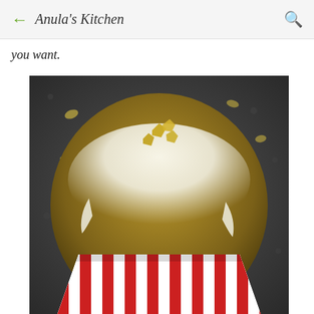← Anula's Kitchen 🔍
you want.
[Figure (photo): Close-up photo of a glazed muffin in a red and white striped paper liner, topped with candied ginger pieces, sitting on a dark granite surface with scattered ginger pieces in the background.]